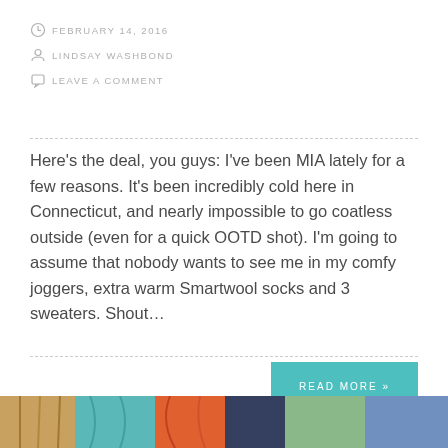FEBRUARY 14, 2016
LINDSAY WASHBOND
LEAVE A COMMENT
Here's the deal, you guys: I've been MIA lately for a few reasons. It's been incredibly cold here in Connecticut, and nearly impossible to go coatless outside (even for a quick OOTD shot). I'm going to assume that nobody wants to see me in my comfy joggers, extra warm Smartwool socks and 3 sweaters. Shout…
READ MORE »
[Figure (photo): Colorful illustrated image at the bottom of the page with warm and cool tones, featuring decorative elements]